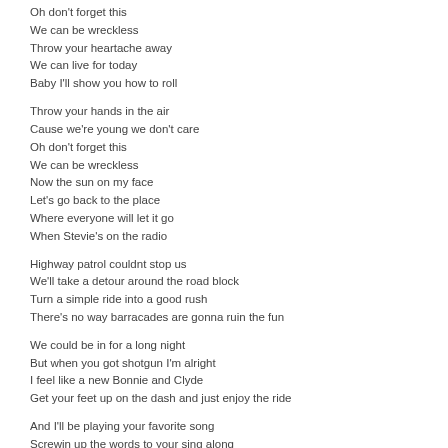Oh don't forget this
We can be wreckless
Throw your heartache away
We can live for today
Baby I'll show you how to roll
Throw your hands in the air
Cause we're young we don't care
Oh don't forget this
We can be wreckless
Now the sun on my face
Let's go back to the place
Where everyone will let it go
When Stevie's on the radio
Highway patrol couldnt stop us
We'll take a detour around the road block
Turn a simple ride into a good rush
There's no way barracades are gonna ruin the fun
We could be in for a long night
But when you got shotgun I'm alright
I feel like a new Bonnie and Clyde
Get your feet up on the dash and just enjoy the ride
And I'll be playing your favorite song
Screwin up the words to your sing along
When we roll it's pedal down to the floor
I will ride with you until the wheels fall off
Throw your hands in the air
Cause we're young we dont care